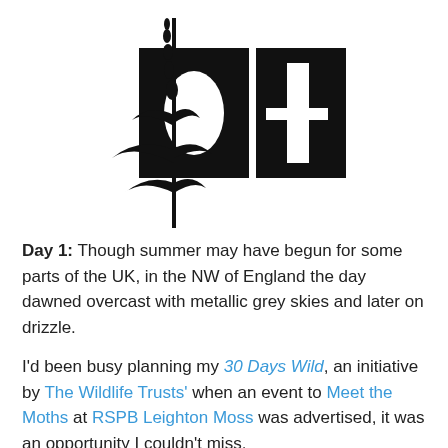[Figure (logo): Black logo showing two black squares side by side with the number '01' (zero and one) in white cutout, with a silhouette of a tall plant/foxglove growing up from the left side of the design]
Day 1: Though summer may have begun for some parts of the UK, in the NW of England the day dawned overcast with metallic grey skies and later on drizzle.
I'd been busy planning my 30 Days Wild, an initiative by The Wildlife Trusts' when an event to Meet the Moths at RSPB Leighton Moss was advertised, it was an opportunity I couldn't miss.